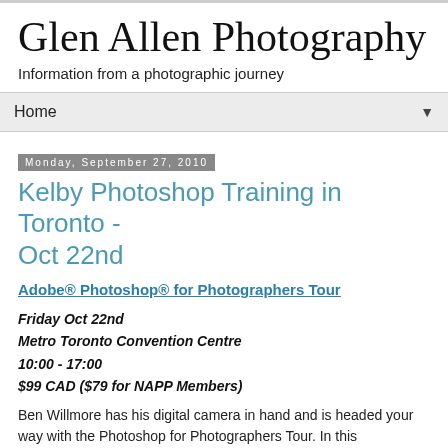Glen Allen Photography
Information from a photographic journey
Home ▼
Monday, September 27, 2010
Kelby Photoshop Training in Toronto - Oct 22nd
Adobe® Photoshop® for Photographers Tour
Friday Oct 22nd
Metro Toronto Convention Centre
10:00 - 17:00
$99 CAD ($79 for NAPP Members)
Ben Willmore has his digital camera in hand and is headed your way with the Photoshop for Photographers Tour. In this